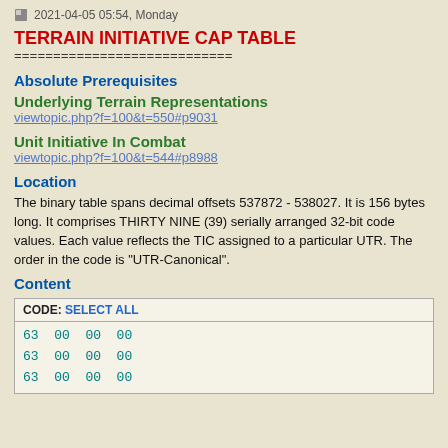2021-04-05 05:54, Monday
TERRAIN INITIATIVE CAP TABLE
============================
Absolute Prerequisites
Underlying Terrain Representations
viewtopic.php?f=100&t=550#p9031
Unit Initiative In Combat
viewtopic.php?f=100&t=544#p8988
Location
The binary table spans decimal offsets 537872 - 538027. It is 156 bytes long. It comprises THIRTY NINE (39) serially arranged 32-bit code values. Each value reflects the TIC assigned to a particular UTR. The order in the code is "UTR-Canonical".
Content
CODE: SELECT ALL
63 00 00 00
63 00 00 00
63 00 00 00